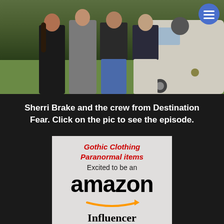[Figure (photo): Group photo of Sherri Brake and the crew from Destination Fear, standing in front of an RV on grass. Four people posing together outdoors.]
Sherri Brake and the crew from Destination Fear. Click on the pic to see the episode.
[Figure (logo): Amazon Influencer promotional banner with Gothic Clothing Paranormal items text in red, Excited to be an text, Amazon logo with orange arrow, and Influencer text below.]